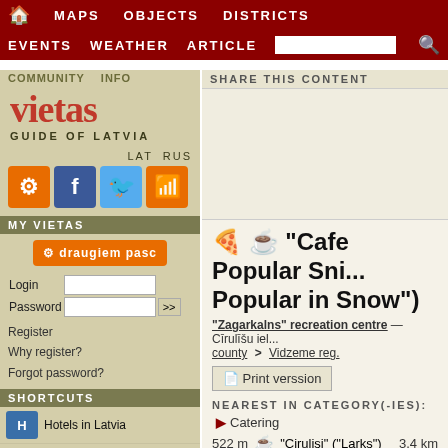MAPS  OBJECTS  DISTRICTS  EVENTS  WEATHER  ARTICLES
"Cafe Popular Sni... Popular in Snow"
"Zagarkalns" recreation centre — Cīrulīšu iel... county > Vidzeme reg.
Print verssion
NEAREST IN CATEGORY(-IES):
▶ Catering
522 m   "Cirulisi" ("Larks")   3.4 km
1.1 km   "Atputa" - hotel   3.4 km
Hotels in Latvia
Bookable accomodation
Most notable places
Palaces, castles ...